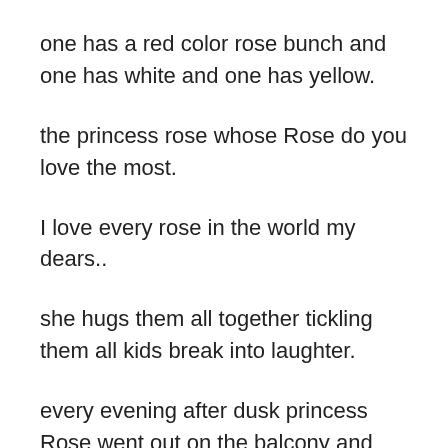one has a red color rose bunch and one has white and one has yellow.
the princess rose whose Rose do you love the most.
I love every rose in the world my dears..
she hugs them all together tickling them all kids break into laughter.
every evening after dusk princess Rose went out on the balcony and clapped her hands.